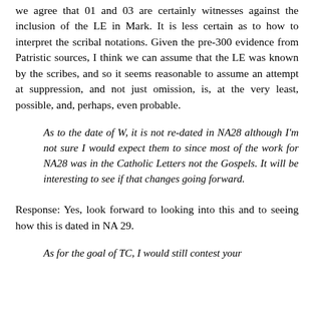we agree that 01 and 03 are certainly witnesses against the inclusion of the LE in Mark. It is less certain as to how to interpret the scribal notations. Given the pre-300 evidence from Patristic sources, I think we can assume that the LE was known by the scribes, and so it seems reasonable to assume an attempt at suppression, and not just omission, is, at the very least, possible, and, perhaps, even probable.
As to the date of W, it is not re-dated in NA28 although I'm not sure I would expect them to since most of the work for NA28 was in the Catholic Letters not the Gospels. It will be interesting to see if that changes going forward.
Response: Yes, look forward to looking into this and to seeing how this is dated in NA 29.
As for the goal of TC, I would still contest your